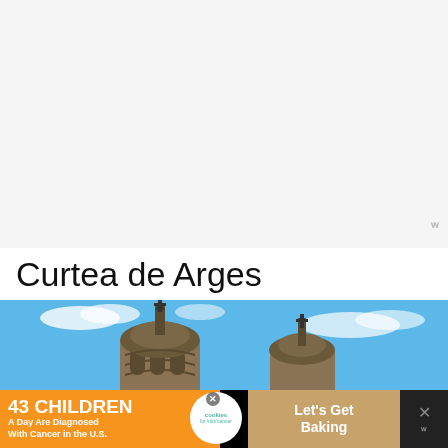[Figure (other): White/light gray blank area at top of page, possibly a map or content loading area with a small watermark logo at bottom right]
Curtea de Arges
[Figure (photo): Photo of Curtea de Arges monastery church towers against a blue sky with white clouds. Two ornate dark stone towers with crosses on top are visible. Teal heart/favorite button and white share button overlay the right side.]
[Figure (other): Advertisement banner: orange background left section reads '43 CHILDREN A Day Are Diagnosed With Cancer in the U.S.' with cookies for kids cancer logo in white circle center, and 'Let's Get Baking' text on right brown/cookie section. Close X button visible.]